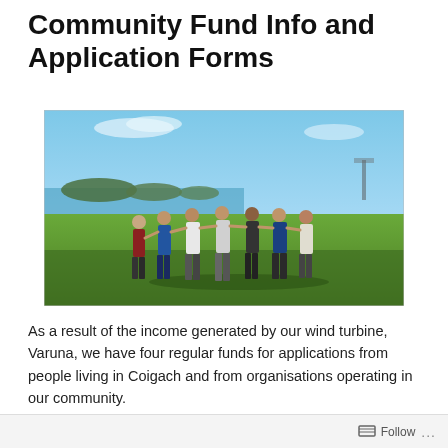Community Fund Info and Application Forms
[Figure (photo): Group of people standing in a line on green grass, arms outstretched touching shoulders, with sea and islands in the background under a blue sky.]
As a result of the income generated by our wind turbine, Varuna, we have four regular funds for applications from people living in Coigach and from organisations operating in our community.
Follow ...